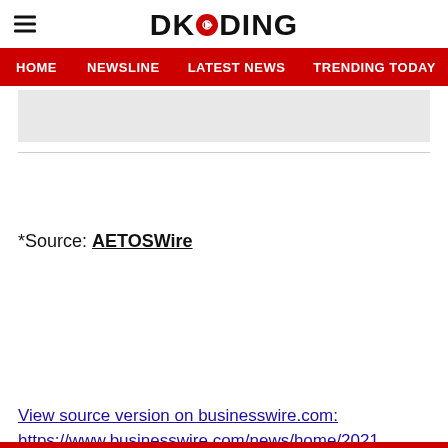DKODING
HOME  NEWSLINE  LATEST NEWS  TRENDING TODAY  ENT
*Source: AETOSWire
View source version on businesswire.com: https://www.businesswire.com/news/home/2021